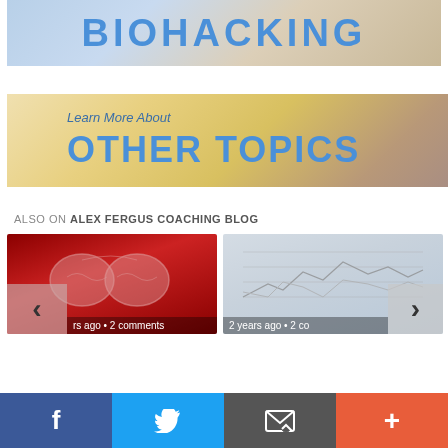[Figure (illustration): Banner image with text BIOHACKING in large bold blue letters on a light background]
[Figure (illustration): Banner image with text 'Learn More About' and 'OTHER TOPICS' in large bold blue letters on a warm gradient background]
ALSO ON ALEX FERGUS COACHING BLOG
[Figure (photo): Blog card showing a brain illustration on a dark red background with navigation arrow and comment count]
[Figure (photo): Blog card showing a chart/graph on a light gray background with navigation arrow and comment count]
[Figure (infographic): Social sharing bar with Facebook, Twitter, Email, and More buttons]